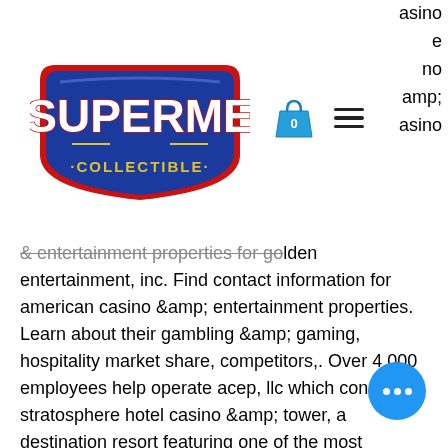[Figure (logo): SuperMe Collectible logo — blue shield/badge shape with red border, white bold text 'SUPERME' on top and '·COLLECTIBLE·' subtitle below]
asino e no amp; isino
&amp; entertainment properties for golden entertainment, inc. Find contact information for american casino &amp; entertainment properties. Learn about their gambling &amp; gaming, hospitality market share, competitors,. Over 4,000 employees help operate acep, llc which consists of stratosphere hotel casino &amp; tower, a destination resort featuring one of the most recognizable. The acquisition of american casino &amp; entertainment properties llc brought to golden entertainment three properties in las vegas including the stratosphere. American casino &amp; entertainment properties llc's profile, r... and employees. American casino entertainment properties owns and operates